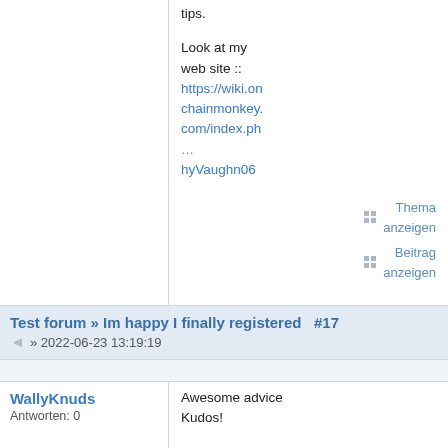tips.
Look at my web site :: https://wiki.onchainmonkey.com/index.ph…hyVaughn06
Thema anzeigen
Beitrag anzeigen
Test forum » Im happy I finally registered  #17 » 2022-06-23 13:19:19
WallyKnuds
Antworten: 0
Awesome advice Kudos!

Feel free to visit my web-site: Read the Bell…